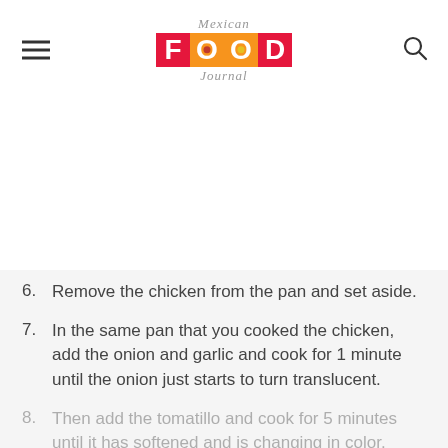Mexican Food Journal
[Figure (other): Blank white area representing a food photo placeholder]
6. Remove the chicken from the pan and set aside.
7. In the same pan that you cooked the chicken, add the onion and garlic and cook for 1 minute until the onion just starts to turn translucent.
8. Then add the tomatillo and cook for 5 minutes until it has softened and is changing in color.